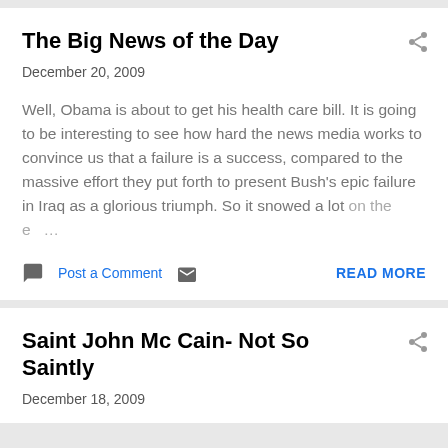The Big News of the Day
December 20, 2009
Well, Obama is about to get his health care bill. It is going to be interesting to see how hard the news media works to convince us that a failure is a success, compared to the massive effort they put forth to present Bush's epic failure in Iraq as a glorious triumph. So it snowed a lot on the e …
Post a Comment   READ MORE
Saint John Mc Cain- Not So Saintly
December 18, 2009